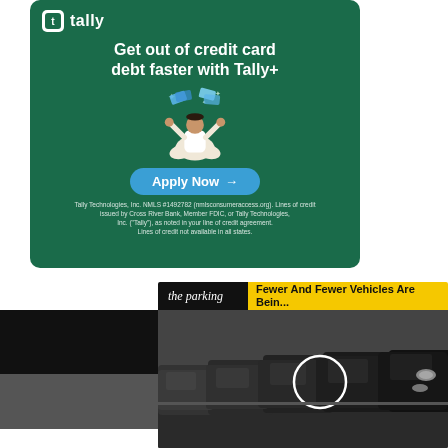[Figure (infographic): Tally+ advertisement. Green background. Logo top-left with 'tally' in white. Headline: 'Get out of credit card debt faster with Tally+'. Illustration of person meditating cross-legged with credit cards floating above. Blue 'Apply Now ->' button. Fine print at bottom about Tally Technologies, NMLS, Cross River Bank.]
[Figure (photo): The Parking advertisement. Black and yellow header bar with italic 'the parking' branding and bold title 'Fewer And Fewer Vehicles Are Bein...'. Black and white photo of a row of parked cars (mainly dark/black vehicles) with a white circle highlighted on one car. Black bar on left side.]